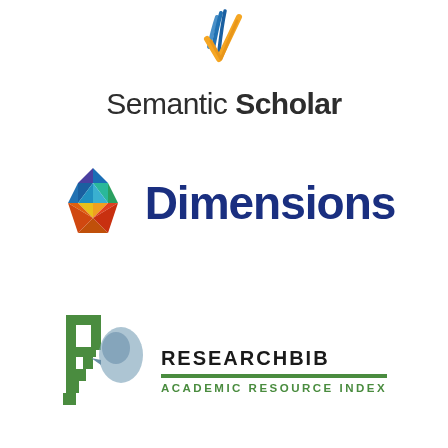[Figure (logo): Semantic Scholar logo: stylized check mark with blue and gold colors above text reading 'Semantic Scholar']
[Figure (logo): Dimensions logo: colorful geometric hexagon-like shape made of triangular facets in blue, green, yellow, orange, red gradient, next to the word 'Dimensions' in dark navy blue bold text]
[Figure (logo): ResearchBib Academic Resource Index logo: green stylized 'RB' letterform with a bird silhouette in blue-gray, next to text 'RESEARCHBIB' in bold black uppercase with a green rule and 'ACADEMIC RESOURCE INDEX' in green uppercase below]